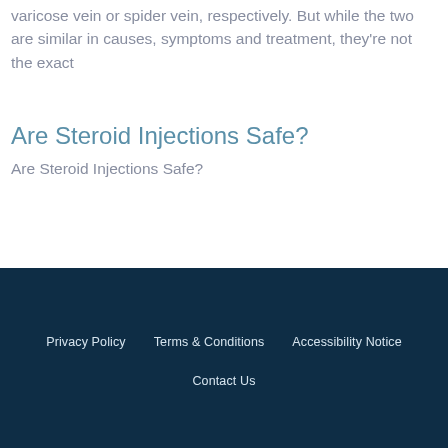varicose vein or spider vein, respectively. But while the two are similar in causes, symptoms and treatment, they're not the exact
Are Steroid Injections Safe?
Are Steroid Injections Safe?
Privacy Policy   Terms & Conditions   Accessibility Notice   Contact Us